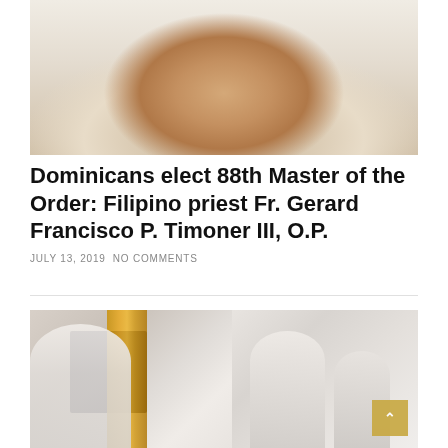[Figure (photo): Close-up photo of a smiling Filipino man (Fr. Gerard Francisco P. Timoner III) wearing a light blue shirt, cropped at chin level showing smile and neck.]
Dominicans elect 88th Master of the Order: Filipino priest Fr. Gerard Francisco P. Timoner III, O.P.
JULY 13, 2019 NO COMMENTS
[Figure (photo): Two-panel photo: Left panel shows a person in white Dominican habit unveiling a plaque covered by golden/yellow curtains. Right panel shows Fr. Timoner in white Dominican habit gesturing with hands raised, with another person standing behind him in an indoor setting.]